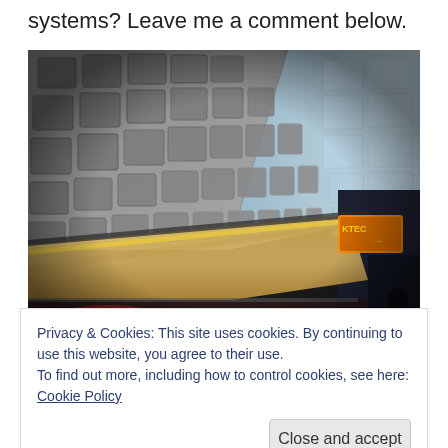systems? Leave me a comment below.
[Figure (photo): Interior of a metro/subway station with a blurred train passing through. The vaulted ceiling has a distinctive coffered pattern in gray and white tiles. The platform is dark, with a digital sign visible in the background and red reflections on the floor.]
Privacy & Cookies: This site uses cookies. By continuing to use this website, you agree to their use.
To find out more, including how to control cookies, see here: Cookie Policy
Close and accept